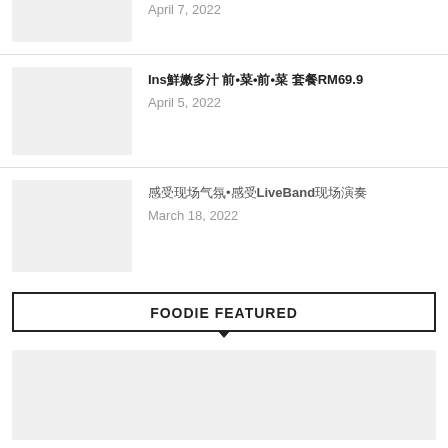[Figure (photo): Thumbnail image placeholder (gray box) for article - top partial row]
April 7, 2022
[Figure (photo): Thumbnail image placeholder (gray box) for Ins article]
Ins鮮嫩多汁 前•菜•前•菜 套餐RM69.9
April 5, 2022
[Figure (photo): Thumbnail image placeholder (gray box) for LiveBand article]
感受现场气氛•感受LiveBand现场演奏
March 18, 2022
FOODIE FEATURED
[Figure (photo): Featured article large thumbnail image placeholder (gray box)]